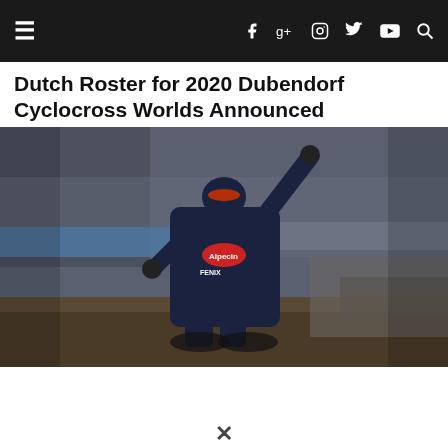Navigation bar with hamburger menu, social icons (Facebook, Google+, Instagram, Twitter, YouTube) and search
Dutch Roster for 2020 Dubendorf Cyclocross Worlds Announced
[Figure (photo): Cyclocross racer in Alpecin-Fenix navy kit celebrating with one arm raised, riding through a muddy course with crowd in background]